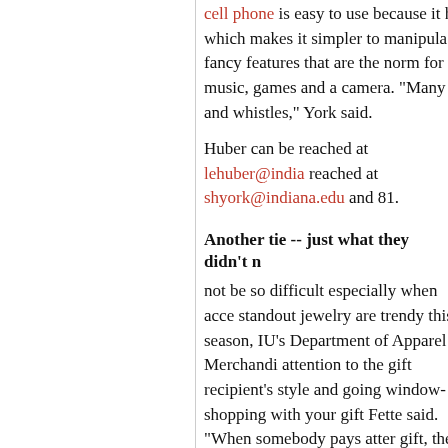cell phone is easy to use because it h which makes it simpler to manipula fancy features that are the norm for music, games and a camera. "Many and whistles," York said.
Huber can be reached at lehuber@india reached at shyork@indiana.edu and 81.
Another tie -- just what they didn't n
not be so difficult especially when acce standout jewelry are trendy this season, IU's Department of Apparel Merchandi attention to the gift recipient's style and going window-shopping with your gift Fette said. "When somebody pays atter gift, the receiver will be a lot more touc